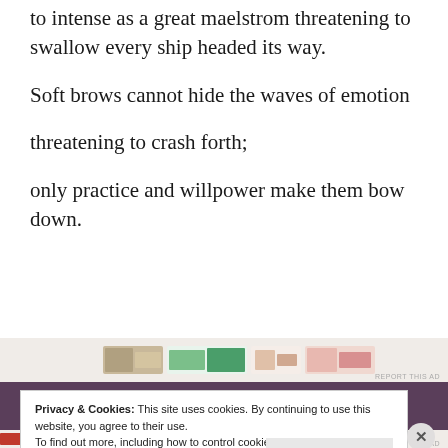to intense as a great maelstrom threatening to swallow every ship headed its way.
Soft brows cannot hide the waves of emotion
threatening to crash forth;
only practice and willpower make them bow down.
[Figure (other): Advertisement banner strip with colorful images]
Privacy & Cookies: This site uses cookies. By continuing to use this website, you agree to their use.
To find out more, including how to control cookies, see here:
Cookie Policy
Close and accept